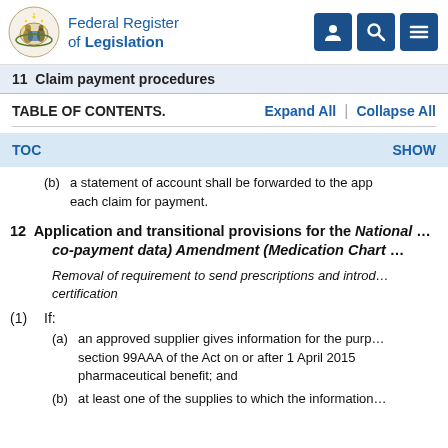Federal Register of Legislation
11  Claim payment procedures
TABLE OF CONTENTS.    Expand All  |  Collapse All
TOC    SHOW
(b)  a statement of account shall be forwarded to the app each claim for payment.
12  Application and transitional provisions for the National ... co-payment data) Amendment (Medication Chart ...
Removal of requirement to send prescriptions and introd... certification
(1)  If:
(a)  an approved supplier gives information for the purp... section 99AAA of the Act on or after 1 April 2015 pharmaceutical benefit; and
(b)  at least one of the supplies to which the information ...